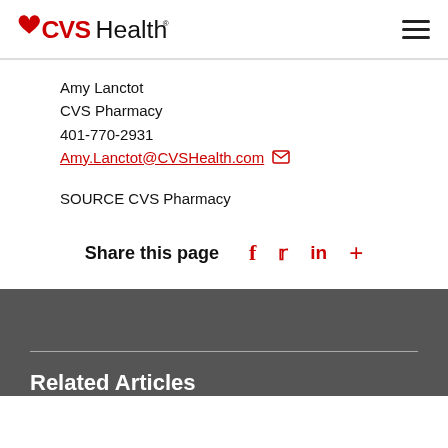CVS Health logo and navigation menu
Amy Lanctot
CVS Pharmacy
401-770-2931
Amy.Lanctot@CVSHealth.com
SOURCE CVS Pharmacy
Share this page  f  Twitter  in  +
Related Articles